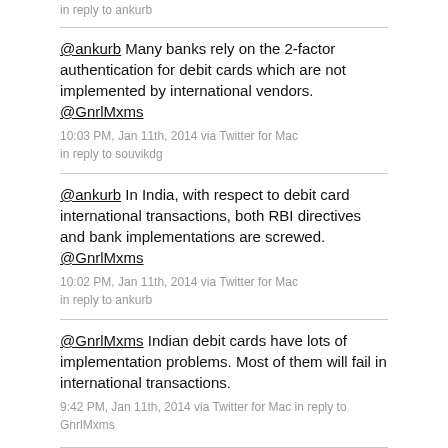in reply to ankurb
@ankurb Many banks rely on the 2-factor authentication for debit cards which are not implemented by international vendors. @GnrlMxms
10:03 PM, Jan 11th, 2014 via Twitter for Mac
in reply to souvikdg
@ankurb In India, with respect to debit card international transactions, both RBI directives and bank implementations are screwed. @GnrlMxms
10:02 PM, Jan 11th, 2014 via Twitter for Mac
in reply to ankurb
@GnrlMxms Indian debit cards have lots of implementation problems. Most of them will fail in international transactions.
9:42 PM, Jan 11th, 2014 via Twitter for Mac in reply to GnrlMxms